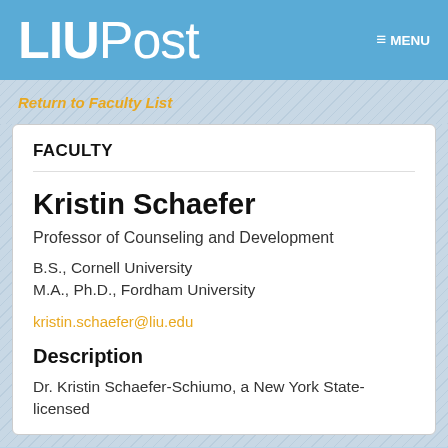LIUPost  ≡ MENU
Return to Faculty List
FACULTY
Kristin Schaefer
Professor of Counseling and Development
B.S., Cornell University
M.A., Ph.D., Fordham University
kristin.schaefer@liu.edu
Description
Dr. Kristin Schaefer-Schiumo, a New York State-licensed